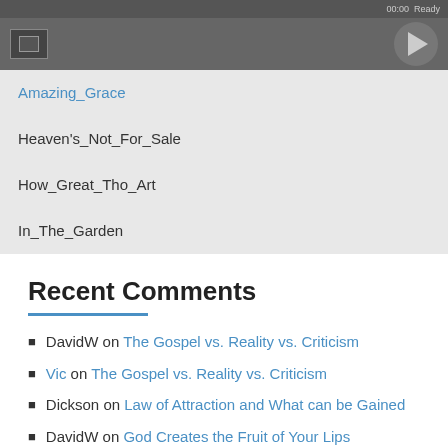[Figure (screenshot): Audio player with dark control bar showing 00:00 Ready status and play button]
Amazing_Grace (active/selected, shown in blue)
Heaven's_Not_For_Sale
How_Great_Tho_Art
In_The_Garden
Recent Comments
DavidW on The Gospel vs. Reality vs. Criticism
Vic on The Gospel vs. Reality vs. Criticism
Dickson on Law of Attraction and What can be Gained
DavidW on God Creates the Fruit of Your Lips
Don & Leah on God Creates the Fruit of Your Lips